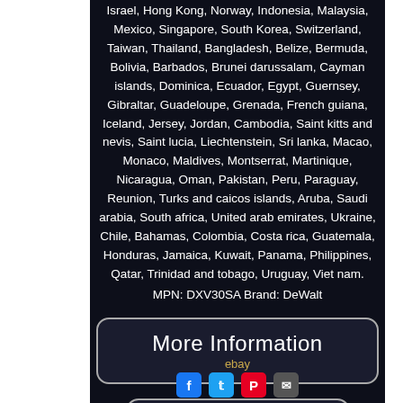Israel, Hong Kong, Norway, Indonesia, Malaysia, Mexico, Singapore, South Korea, Switzerland, Taiwan, Thailand, Bangladesh, Belize, Bermuda, Bolivia, Barbados, Brunei darussalam, Cayman islands, Dominica, Ecuador, Egypt, Guernsey, Gibraltar, Guadeloupe, Grenada, French guiana, Iceland, Jersey, Jordan, Cambodia, Saint kitts and nevis, Saint lucia, Liechtenstein, Sri lanka, Macao, Monaco, Maldives, Montserrat, Martinique, Nicaragua, Oman, Pakistan, Peru, Paraguay, Reunion, Turks and caicos islands, Aruba, Saudi arabia, South africa, United arab emirates, Ukraine, Chile, Bahamas, Colombia, Costa rica, Guatemala, Honduras, Jamaica, Kuwait, Panama, Philippines, Qatar, Trinidad and tobago, Uruguay, Viet nam.
MPN: DXV30SA Brand: DeWalt
[Figure (other): Button labeled 'More Information' with 'ebay' subtitle, dark background with rounded border]
[Figure (other): Button labeled 'View Price' with 'ebay' subtitle, dark background with rounded border]